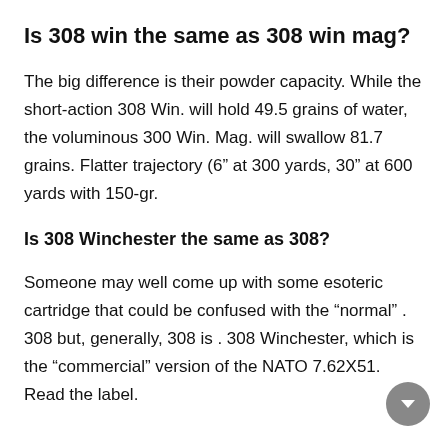Is 308 win the same as 308 win mag?
The big difference is their powder capacity. While the short-action 308 Win. will hold 49.5 grains of water, the voluminous 300 Win. Mag. will swallow 81.7 grains. Flatter trajectory (6” at 300 yards, 30” at 600 yards with 150-gr.
Is 308 Winchester the same as 308?
Someone may well come up with some esoteric cartridge that could be confused with the “normal” . 308 but, generally, 308 is . 308 Winchester, which is the “commercial” version of the NATO 7.62X51. Read the label.